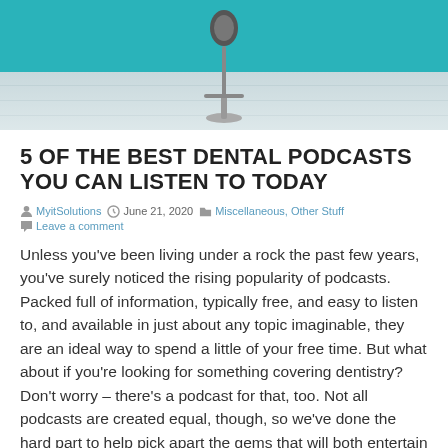[Figure (photo): Hero image of a microphone stand on a light wood floor with teal/blue background]
5 OF THE BEST DENTAL PODCASTS YOU CAN LISTEN TO TODAY
MyitSolutions   June 21, 2020   Miscellaneous, Other Stuff
Leave a comment
Unless you've been living under a rock the past few years, you've surely noticed the rising popularity of podcasts. Packed full of information, typically free, and easy to listen to, and available in just about any topic imaginable, they are an ideal way to spend a little of your free time. But what about if you're looking for something covering dentistry? Don't worry – there's a podcast for that, too. Not all podcasts are created equal, though, so we've done the hard part to help pick apart the gems that will both entertain and